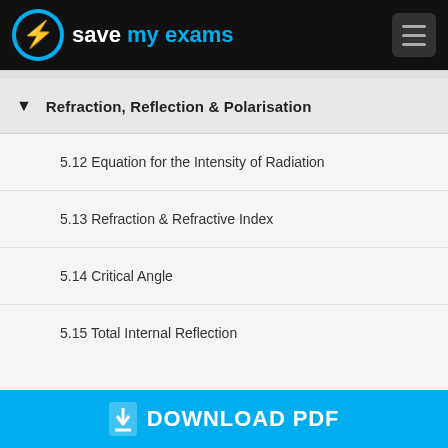Save My Exams
Refraction, Reflection & Polarisation
5.12 Equation for the Intensity of Radiation
5.13 Refraction & Refractive Index
5.14 Critical Angle
5.15 Total Internal Reflection
DOWNLOAD PDF